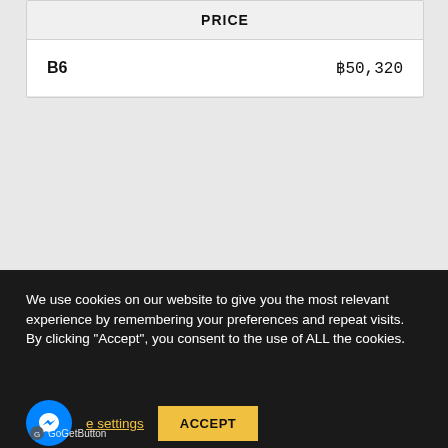|  | PRICE |
| --- | --- |
| B6 | ฿50,320 |
E-CLASS W213
[Figure (photo): Dark/black background image showing the front of a Mercedes-Benz E-Class W213 with subtle light reflection]
We use cookies on our website to give you the most relevant experience by remembering your preferences and repeat visits. By clicking "Accept", you consent to the use of ALL the cookies.
Cookie settings  ACCEPT
GoGetButton